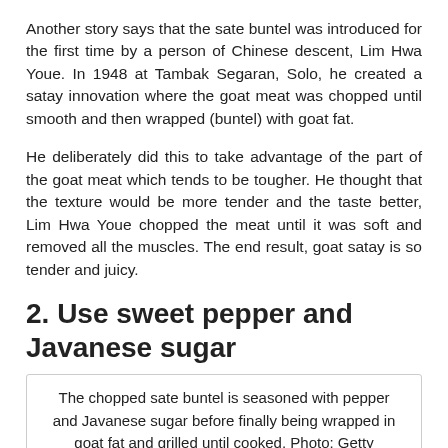Another story says that the sate buntel was introduced for the first time by a person of Chinese descent, Lim Hwa Youe. In 1948 at Tambak Segaran, Solo, he created a satay innovation where the goat meat was chopped until smooth and then wrapped (buntel) with goat fat.
He deliberately did this to take advantage of the part of the goat meat which tends to be tougher. He thought that the texture would be more tender and the taste better, Lim Hwa Youe chopped the meat until it was soft and removed all the muscles. The end result, goat satay is so tender and juicy.
2. Use sweet pepper and Javanese sugar
The chopped sate buntel is seasoned with pepper and Javanese sugar before finally being wrapped in goat fat and grilled until cooked. Photo: Getty Images/iStockphoto/Anita Handayani